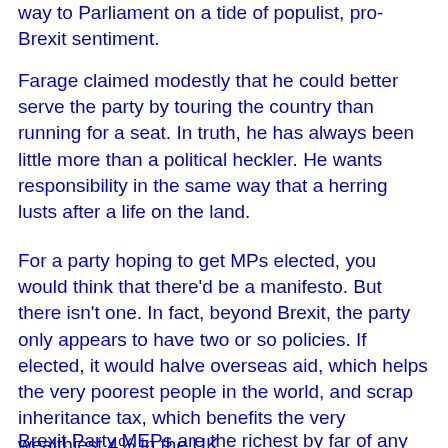way to Parliament on a tide of populist, pro-Brexit sentiment.
Farage claimed modestly that he could better serve the party by touring the country than running for a seat. In truth, he has always been little more than a political heckler. He wants responsibility in the same way that a herring lusts after a life on the land.
For a party hoping to get MPs elected, you would think that there'd be a manifesto. But there isn't one. In fact, beyond Brexit, the party only appears to have two or so policies. If elected, it would halve overseas aid, which helps the very poorest people in the world, and scrap inheritance tax, which benefits the very wealthiest 4% in the UK.
Brexit Party MEPs are the richest by far of any party in